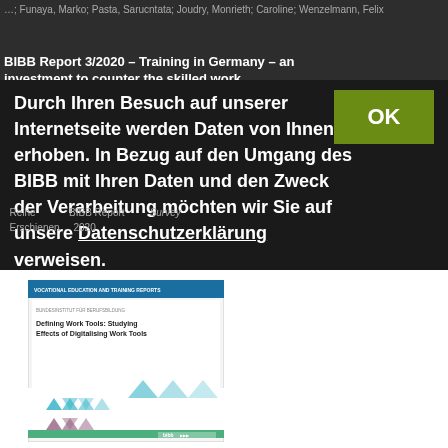…; Funaya, Marko; Pasta, Sarucntata; Joudry, Monrieth; Caroline; Wenzelmann, Felix
BIBB Report 3/2020 – Training in Germany – an investment to counter the skilled worker shortage
Durch Ihren Besuch auf unserer Internetseite werden Daten von Ihnen erhoben. In Bezug auf den Umgang des BIBB mit Ihren Daten und den Zweck der Verarbeitung möchten wir Sie auf unsere Datenschutzerklärung verweisen.
Reihe    BIBB Report
Erschienen    2020
[Figure (illustration): Book cover of a BIBB publication titled 'Defining Work Tools: Studying Effects of Digitalising Work Tools' with geometric triangle pattern design at bottom and BIBB logo]